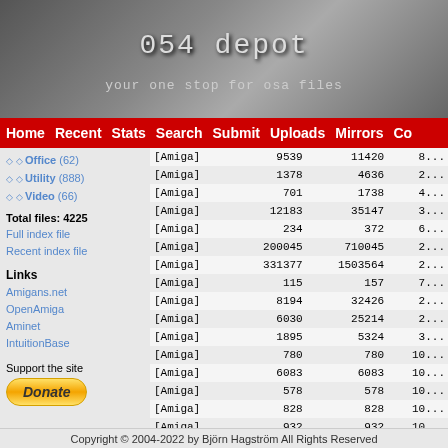[Figure (screenshot): OS4 Depot website header with logo text '054 depot' and subtitle 'your one stop for osa files' on a textured grey background]
Home  Recent  Stats  Search  Submit  Uploads  Mirrors  Co
Office (62)
Utility (888)
Video (66)
Total files: 4225
Full index file
Recent index file
Links
Amigans.net
OpenAmiga
Aminet
IntuitionBase
Support the site
| Platform | Col1 | Col2 | Col3 |
| --- | --- | --- | --- |
| [Amiga] | 9539 | 11420 | 8... |
| [Amiga] | 1378 | 4636 | 2... |
| [Amiga] | 701 | 1738 | 4... |
| [Amiga] | 12183 | 35147 | 3... |
| [Amiga] | 234 | 372 | 6... |
| [Amiga] | 200045 | 710045 | 2... |
| [Amiga] | 331377 | 1503564 | 2... |
| [Amiga] | 115 | 157 | 7... |
| [Amiga] | 8194 | 32426 | 2... |
| [Amiga] | 6030 | 25214 | 2... |
| [Amiga] | 1895 | 5324 | 3... |
| [Amiga] | 780 | 780 | 10... |
| [Amiga] | 6083 | 6083 | 10... |
| [Amiga] | 578 | 578 | 10... |
| [Amiga] | 828 | 828 | 10... |
| [Amiga] | 932 | 932 | 10... |
| [Amiga] | 13499 | 13595 | 9... |
| [Amiga] | 1214 | 1214 | 10... |
| [Amiga] | 1882 | 1882 | 10... |
| [Amiga] | 2716 | 2716 | 10... |
Copyright © 2004-2022 by Björn Hagström All Rights Reserved